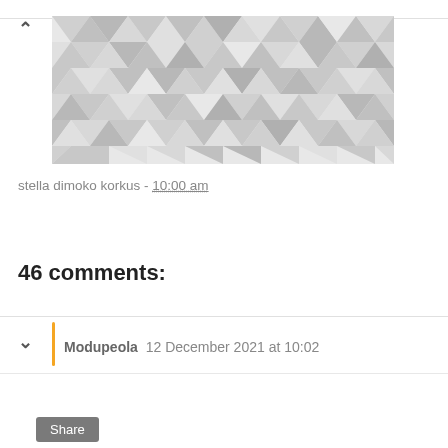[Figure (illustration): Decorative geometric pattern image with grey and white triangular/diamond shapes in a repeating low-poly pattern]
stella dimoko korkus - 10:00 am
Share
46 comments:
Modupeola  12 December 2021 at 10:02